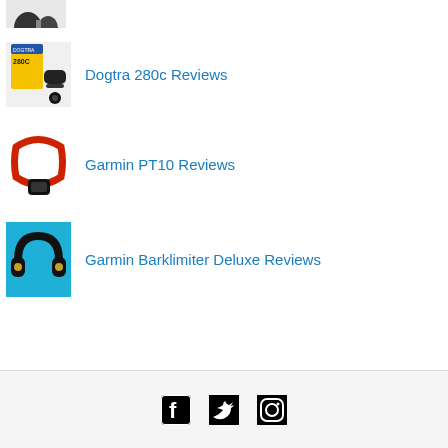[Figure (photo): Partial view of dog training collar product image, cropped at top of page]
Dogtra 280c Reviews
Garmin PT10 Reviews
Garmin Barklimiter Deluxe Reviews
[Figure (infographic): Social media icons: Facebook, Twitter, Instagram in footer]